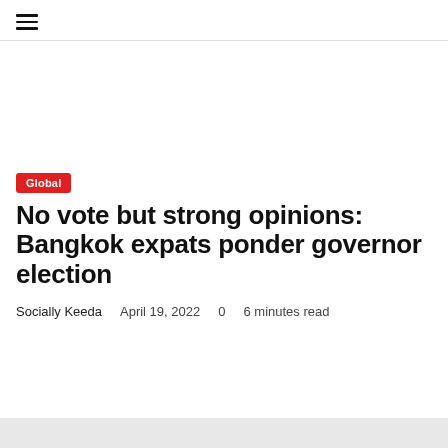≡ (hamburger menu icon)
Global
No vote but strong opinions: Bangkok expats ponder governor election
Socially Keeda   April 19, 2022   0   6 minutes read